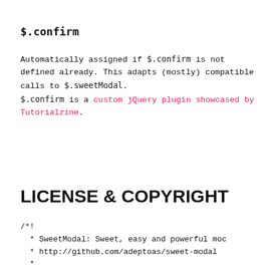$.confirm
Automatically assigned if $.confirm is not defined already. This adapts (mostly) compatible calls to $.sweetModal.
$.confirm is a custom jQuery plugin showcased by Tutorialzine.
LICENSE & COPYRIGHT
/*!
 * SweetModal: Sweet, easy and powerful moc
 * http://github.com/adeptoas/sweet-modal
 *